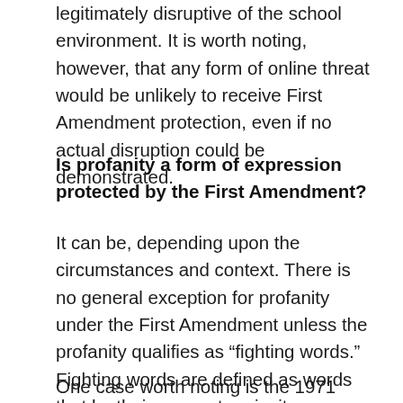legitimately disruptive of the school environment. It is worth noting, however, that any form of online threat would be unlikely to receive First Amendment protection, even if no actual disruption could be demonstrated.
Is profanity a form of expression protected by the First Amendment?
It can be, depending upon the circumstances and context. There is no general exception for profanity under the First Amendment unless the profanity qualifies as “fighting words.” Fighting words are defined as words that by their very nature incite an immediate breach of the peace.
One case worth noting is the 1971 case of Cohen v.